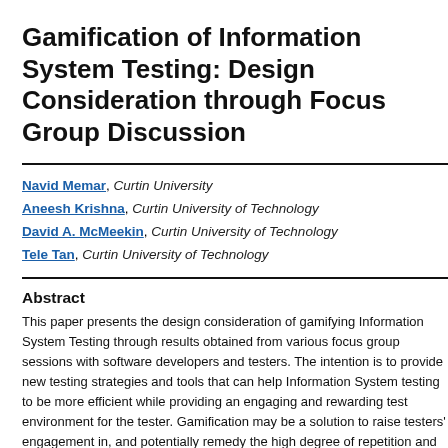Gamification of Information System Testing: Design Consideration through Focus Group Discussion
Navid Memar, Curtin University
Aneesh Krishna, Curtin University of Technology
David A. McMeekin, Curtin University of Technology
Tele Tan, Curtin University of Technology
Abstract
This paper presents the design consideration of gamifying Information System Testing through results obtained from various focus group sessions with software developers and testers. The intention is to provide new testing strategies and tools that can help Information System testing to be more efficient while providing an engaging and rewarding test environment for the tester. Gamification may be a solution to raise testers' engagement in, and potentially remedy the high degree of repetition and ensuing boredom of the tester in the testing phase. Findings, suggest that gamification may be an element to advance the testing efficiency. Moreover, system and task knowledge, the objectives of the actual system, time constraints and reliable tools for performing testing task are essential to have an efficient testing performance. Participants stated that points, levels, meaningful gifts, progressions, provision of choice and feedback are the main elements